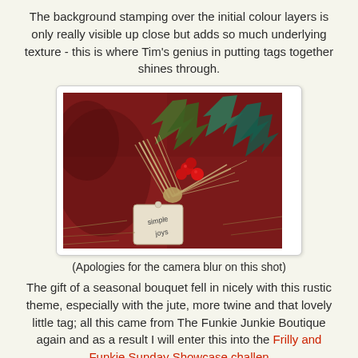The background stamping over the initial colour layers is only really visible up close but adds so much underlying texture - this is where Tim's genius in putting tags together shines through.
[Figure (photo): Close-up photo of a rustic Christmas tag decoration with holly leaves (green, textured), red berries, jute twine bundle, and a small tag reading 'simple joys', set against a dark red patterned background.]
(Apologies for the camera blur on this shot)
The gift of a seasonal bouquet fell in nicely with this rustic theme, especially with the jute, more twine and that lovely little tag; all this came from The Funkie Junkie Boutique again and as a result I will enter this into the Frilly and Funkie Sunday Showcase challenge.